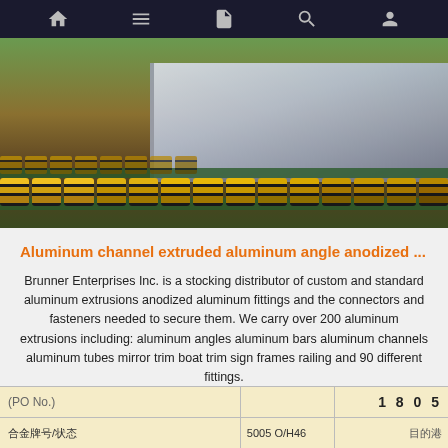Navigation bar with home, menu, document, search, and profile icons
[Figure (photo): Industrial conveyor with yellow and black rollers carrying metal/aluminum sheets in a factory setting]
Aluminum channel extruded aluminum angle anodized ...
Brunner Enterprises Inc. is a stocking distributor of custom and standard aluminum extrusions anodized aluminum fittings and the connectors and fasteners needed to secure them. We carry over 200 aluminum extrusions including: aluminum angles aluminum bars aluminum channels aluminum tubes mirror trim boat trim sign frames railing and 90 different fittings.
[Figure (other): Get Price button (bordered rectangle) and TOP logo (orange dotted triangle with TOP text)]
| (PO No.) |  | 1 8 0 5 |
| --- | --- | --- |
| 合金牌号/状态 | 5005 0/H46 | 目的港 |